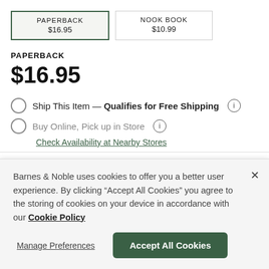PAPERBACK $16.95 | NOOK BOOK $10.99 (format tabs)
PAPERBACK
$16.95
Ship This Item — Qualifies for Free Shipping
Buy Online, Pick up in Store
Check Availability at Nearby Stores
Barnes & Noble uses cookies to offer you a better user experience. By clicking "Accept All Cookies" you agree to the storing of cookies on your device in accordance with our Cookie Policy
Manage Preferences
Accept All Cookies